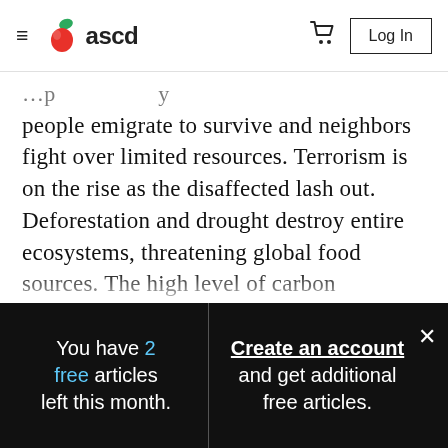≡  ascd  [cart]  Log In
people emigrate to survive and neighbors fight over limited resources. Terrorism is on the rise as the disaffected lash out. Deforestation and drought destroy entire ecosystems, threatening global food sources. The high level of carbon emissions from richer countries raises eyebrows and wreaks environmental havoc. None of these challenges respect national boundaries, and none will be easy to solve
You have 2 free articles left this month.
Create an account and get additional free articles.